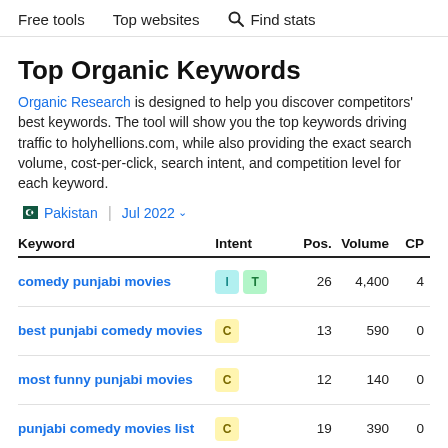Free tools   Top websites   🔍 Find stats
Top Organic Keywords
Organic Research is designed to help you discover competitors' best keywords. The tool will show you the top keywords driving traffic to holyhellions.com, while also providing the exact search volume, cost-per-click, search intent, and competition level for each keyword.
🇵🇰 Pakistan  |  Jul 2022 ▾
| Keyword | Intent | Pos. | Volume | CP |
| --- | --- | --- | --- | --- |
| comedy punjabi movies | I T | 26 | 4,400 | 4 |
| best punjabi comedy movies | C | 13 | 590 | 0 |
| most funny punjabi movies | C | 12 | 140 | 0 |
| punjabi comedy movies list | C | 19 | 390 | 0 |